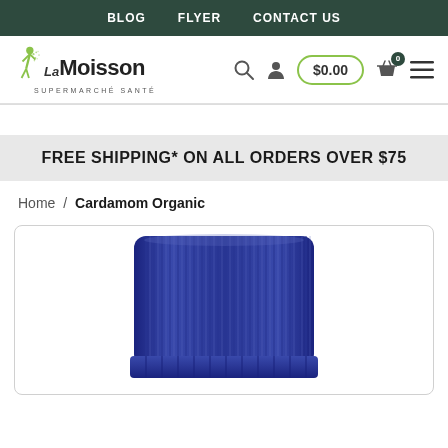BLOG  FLYER  CONTACT US
[Figure (logo): La Moisson Supermarché Santé logo with green figure and dot pattern]
$0.00
FREE SHIPPING* ON ALL ORDERS OVER $75
Home /  Cardamom Organic
[Figure (photo): Close-up of a blue ribbed bottle cap of Cardamom Organic essential oil product]